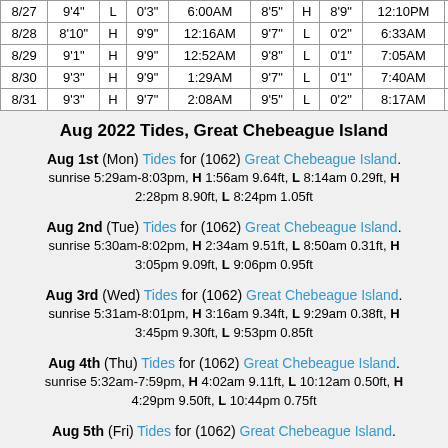| Date | Height | H/L | High/Low | Time | Height | H/L | Height | Time | Height | H/L | Height |
| --- | --- | --- | --- | --- | --- | --- | --- | --- | --- | --- | --- |
| 8/27 | 9'4" | L | 0'3" | 6:00AM | 8'5" | H | 8'9" | 12:10PM | 7'10" | L | 0'1" |
| 8/28 | 8'10" | H | 9'9" | 12:16AM | 9'7" | L | 0'2" | 6:33AM | 8'10" | H | 9'0" |
| 8/29 | 9'1" | H | 9'9" | 12:52AM | 9'8" | L | 0'1" | 7:05AM | 9'1" | H | 9'3" |
| 8/30 | 9'3" | H | 9'9" | 1:29AM | 9'7" | L | 0'1" | 7:40AM | 9'4" | H | 9'8" |
| 8/31 | 9'3" | H | 9'7" | 2:08AM | 9'5" | L | 0'2" | 8:17AM | 9'6" | H | 9'8" |
Aug 2022 Tides, Great Chebeague Island
Aug 1st (Mon) Tides for (1062) Great Chebeague Island. sunrise 5:29am-8:03pm, H 1:56am 9.64ft, L 8:14am 0.29ft, H 2:28pm 8.90ft, L 8:24pm 1.05ft
Aug 2nd (Tue) Tides for (1062) Great Chebeague Island. sunrise 5:30am-8:02pm, H 2:34am 9.51ft, L 8:50am 0.31ft, H 3:05pm 9.09ft, L 9:06pm 0.95ft
Aug 3rd (Wed) Tides for (1062) Great Chebeague Island. sunrise 5:31am-8:01pm, H 3:16am 9.34ft, L 9:29am 0.38ft, H 3:45pm 9.30ft, L 9:53pm 0.85ft
Aug 4th (Thu) Tides for (1062) Great Chebeague Island. sunrise 5:32am-7:59pm, H 4:02am 9.11ft, L 10:12am 0.50ft, H 4:29pm 9.50ft, L 10:44pm 0.75ft
Aug 5th (Fri) Tides for (1062) Great Chebeague Island.